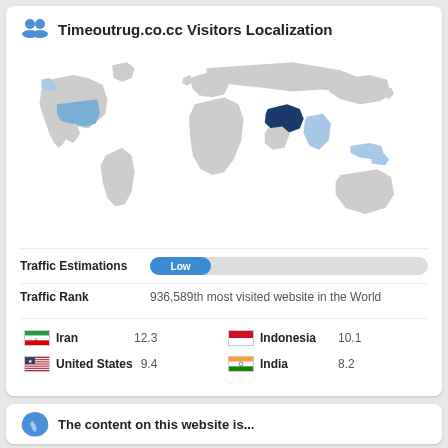Timeoutrug.co.cc Visitors Localization
[Figure (map): World map showing visitor localization with highlighted countries: Iran (dark blue), United States (medium blue), Indonesia (light blue), India (light blue), and other regions in grey.]
Traffic Estimations  Low
Traffic Rank  936,589th most visited website in the World
Iran  12.3
Indonesia  10.1
United States  9.4
India  8.2